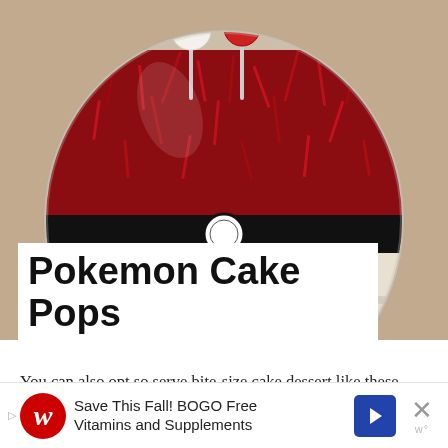[Figure (photo): A glass fishbowl styled as a Pokeball (red shredded paper on top, white rice on bottom, black band in middle with white circle) holding cake pops on sticks, on a tan background]
PHOTO CREDIT: www.pinterest.com
Pokemon Cake Pops
You can also opt so serve bite-size cake dessert like these Pokemon cake pops. Create adorable
[Figure (infographic): Advertisement banner: Walgreens logo with arrow icon. Text: Save This Fall! BOGO Free Vitamins and Supplements. Blue navigation arrow icon. Close X button with w° dots.]